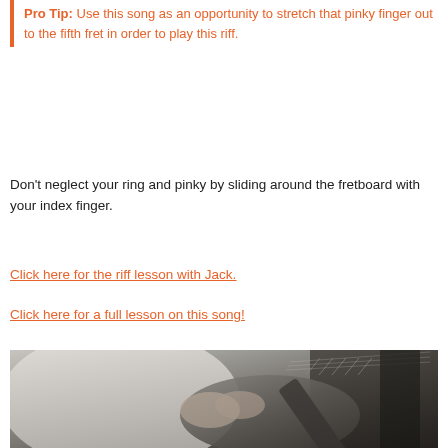Pro Tip: Use this song as an opportunity to stretch that pinky finger out to the fifth fret in order to play this riff.
Don't neglect your ring and pinky by sliding around the fretboard with your index finger.
Click here for the riff lesson with Jack.
Click here for a full lesson on this song!
[Figure (photo): Black and white photograph of a guitarist playing an electric guitar, showing hands on the fretboard and body of the guitar.]